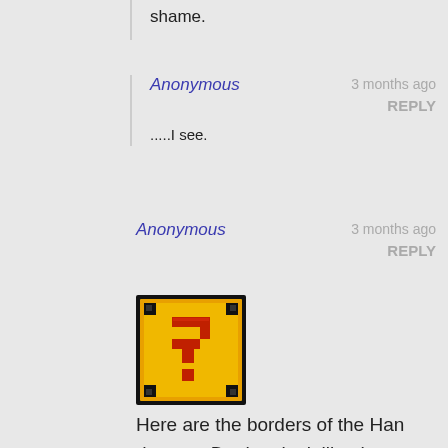shame.
Anonymous
3 months ago
REPLY
.....I see.
Anonymous
3 months ago
REPLY
[Figure (illustration): Pixelated yellow question mark block from Super Mario Bros video game]
Here are the borders of the Han dynasty. Do they look like the borders of modern China to you?